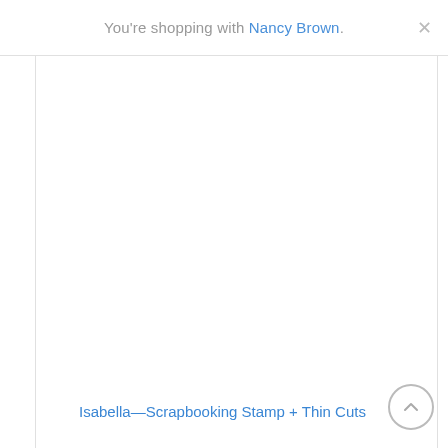You're shopping with Nancy Brown.
[Figure (screenshot): Large white empty content area of a web page, showing a product panel]
Isabella—Scrapbooking Stamp + Thin Cuts